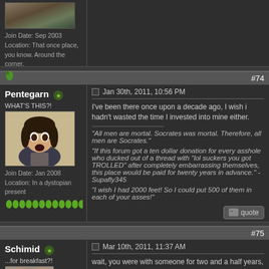[Figure (photo): Partial top of previous post showing avatar photo of a person near a tree, user metadata area]
Join Date: Sep 2003
Location: That once place, you know. Around the corner.
#74
Pentegarn
WHAT'S THIS?!
[Figure (illustration): Anime-style illustration of a character with dark hair looking surprised/angry]
Join Date: Jan 2008
Location: In a dystopian present
Jan 30th, 2011, 10:56 PM
I've been there once upon a decade ago, I wish i hadn't wasted the time I invested into mine either.
"All men are mortal. Socrates was mortal. Therefore, all men are Socrates."

"If this forum got a ten dollar donation for every asshole who ducked out of a thread with "lol suckers you got TROLLED" after completely embarrassing themselves, this place would be paid for twenty years in advance." - Supafly345

"I wish I had 2000 feet! So I could put 500 of them in each of your asses!"
#75
Schimid
...for breakfast?!
[Figure (photo): Profile photo of a person, partial view at bottom of page]
Mar 10th, 2011, 11:37 AM
wait, you were with someone for two and a half years, then she dumped you, and now you're married to someone you only knew for seven months prior?